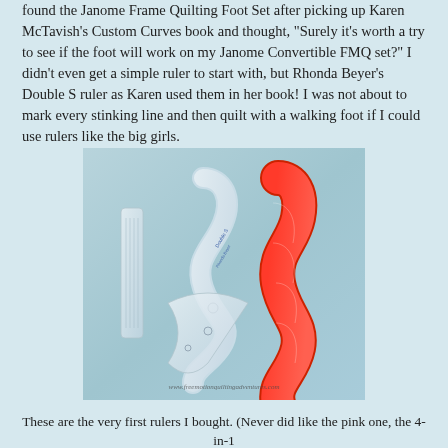found the Janome Frame Quilting Foot Set after picking up Karen McTavish's Custom Curves book and thought, "Surely it's worth a try to see if the foot will work on my Janome Convertible FMQ set?" I didn't even get a simple ruler to start with, but Rhonda Beyer's Double S ruler as Karen used them in her book! I was not about to mark every stinking line and then quilt with a walking foot if I could use rulers like the big girls.
[Figure (photo): Photo of quilting rulers on a teal/blue background: clear acrylic rulers in various S-curve and geometric shapes, plus a bright pink/red wavy ruler on the right. Watermark reads www.freemotionquiltingadventures.com]
These are the very first rulers I bought. (Never did like the pink one, the 4-in-1